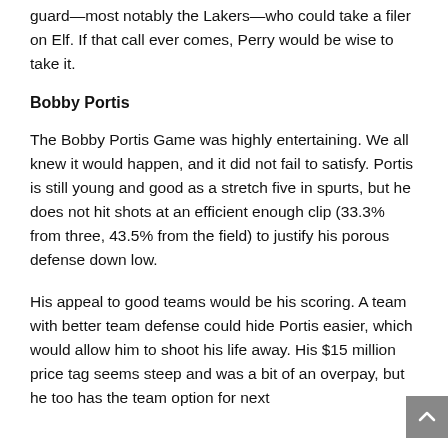guard—most notably the Lakers—who could take a filer on Elf. If that call ever comes, Perry would be wise to take it.
Bobby Portis
The Bobby Portis Game was highly entertaining. We all knew it would happen, and it did not fail to satisfy. Portis is still young and good as a stretch five in spurts, but he does not hit shots at an efficient enough clip (33.3% from three, 43.5% from the field) to justify his porous defense down low.
His appeal to good teams would be his scoring. A team with better team defense could hide Portis easier, which would allow him to shoot his life away. His $15 million price tag seems steep and was a bit of an overpay, but he too has the team option for next